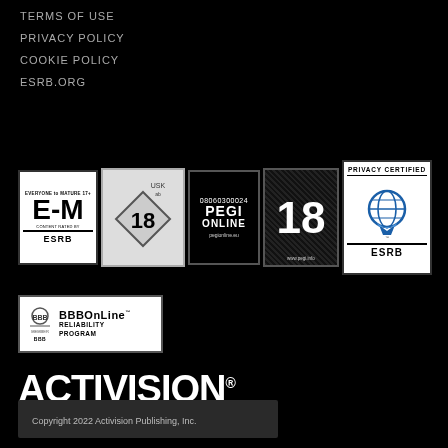TERMS OF USE
PRIVACY POLICY
COOKIE POLICY
ESRB.ORG
[Figure (logo): Rating badges row: ESRB E-M rating, USK 18, PEGI Online, PEGI 18, ESRB Privacy Certified]
[Figure (logo): BBBOnLine Reliability Program badge]
[Figure (logo): Activision logo]
Copyright 2022 Activision Publishing, Inc.